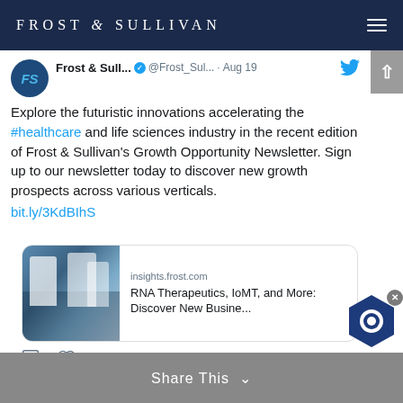FROST & SULLIVAN
Frost & Sull... @Frost_Sul... · Aug 19
Explore the futuristic innovations accelerating the #healthcare and life sciences industry in the recent edition of Frost & Sullivan's Growth Opportunity Newsletter. Sign up to our newsletter today to discover new growth prospects across various verticals.
bit.ly/3KdBIhS
[Figure (screenshot): Preview card showing insights.frost.com with title 'RNA Therapeutics, IoMT, and More: Discover New Busine...' and a lab image]
♡ 1
Frost & Sull... @Frost_Sul...
Share This